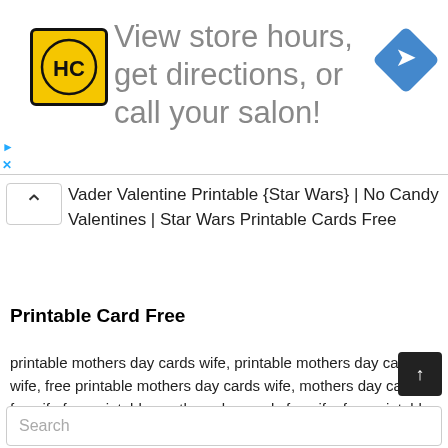[Figure (infographic): Advertisement banner: HC logo (yellow square with HC text), large text 'View store hours, get directions, or call your salon!', blue diamond arrow icon on right]
Vader Valentine Printable {Star Wars} | No Candy Valentines | Star Wars Printable Cards Free
Printable Card Free
printable mothers day cards wife, printable mothers day card wife, free printable mothers day cards wife, mothers day cards for wife free printable, mothers day cards for wife, free printable mothers day cards for wife, printable mothers day cards for wife, printable mothers day card for wife, free printable adult birthday cards, free printable yoga cards for kids,